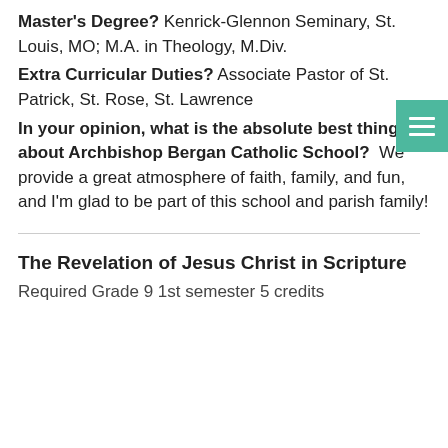Master's Degree? Kenrick-Glennon Seminary, St. Louis, MO; M.A. in Theology, M.Div.
Extra Curricular Duties? Associate Pastor of St. Patrick, St. Rose, St. Lawrence
In your opinion, what is the absolute best thing about Archbishop Bergan Catholic School?  We provide a great atmosphere of faith, family, and fun, and I'm glad to be part of this school and parish family!
The Revelation of Jesus Christ in Scripture
Required Grade 9 1st semester 5 credits